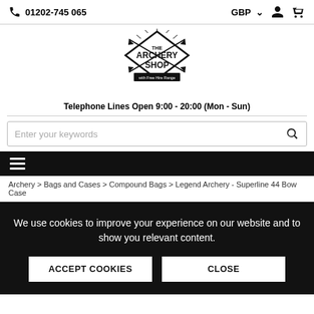01202-745 065   GBP
[Figure (logo): The Archery Shop logo — diamond shape with arrows and banner]
Telephone Lines Open 9:00 - 20:00 (Mon - Sun)
Enter your keywords
≡ (hamburger menu)
Archery > Bags and Cases > Compound Bags > Legend Archery - Superline 44 Bow Case
We use cookies to improve your experience on our website and to show you relevant content.
ACCEPT COOKIES    CLOSE